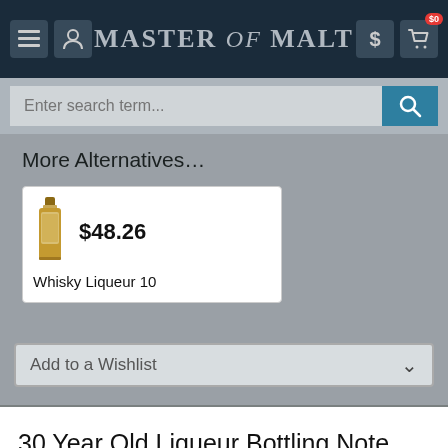Master of Malt
More Alternatives...
$48.26
Whisky Liqueur 10
Add to a Wishlist
30 Year Old Liqueur Bottling Note
Made exclusively using 30 Year Old Single Malt Whisky from one of Scotland's most famous distilleries, this liqueur is...